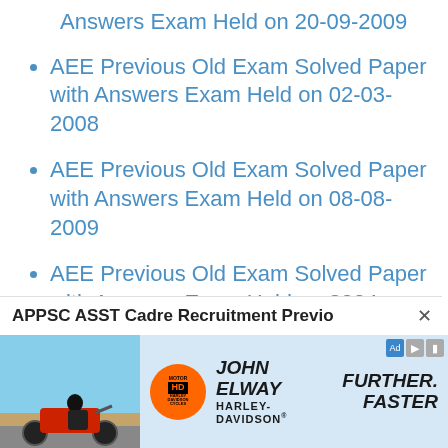Answers Exam Held on 20-09-2009
AEE Previous Old Exam Solved Paper with Answers Exam Held on 02-03-2008
AEE Previous Old Exam Solved Paper with Answers Exam Held on 08-08-2009
AEE Previous Old Exam Solved Paper with Answers Exam Held on 2004
APPSC AEE Sample Paper for English
APPSC ASST Cadre Recruitment Previo ×
[Figure (photo): John Elway Harley-Davidson advertisement with motorcycle photo and 'Further. Faster.' tagline]